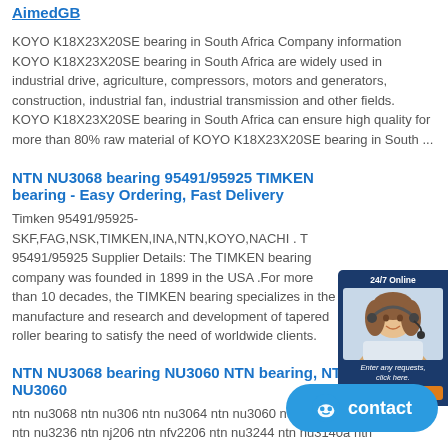AimedGB
KOYO K18X23X20SE bearing in South Africa Company information KOYO K18X23X20SE bearing in South Africa are widely used in industrial drive, agriculture, compressors, motors and generators, construction, industrial fan, industrial transmission and other fields. KOYO K18X23X20SE bearing in South Africa can ensure high quality for more than 80% raw material of KOYO K18X23X20SE bearing in South ...
NTN NU3068 bearing 95491/95925 TIMKEN bearing - Easy Ordering, Fast Delivery
Timken 95491/95925-SKF,FAG,NSK,TIMKEN,INA,NTN,KOYO,NACHI . T 95491/95925 Supplier Details: The TIMKEN bearing company was founded in 1899 in the USA .For more than 10 decades, the TIMKEN bearing spec in the manufacture and research and development of tapered roller bearing to satisfy the need of worldwide clients.
NTN NU3068 bearing NU3060 NTN bearing, NTN bearing NU3060
ntn nu3068 ntn nu306 ntn nu3064 ntn nu3060 ntn nup1006 ntn nu3236 ntn nj206 ntn nfv2206 ntn nu3244 ntn nu3140a ntn nu3080 ntn nu304e Related information about NU3060 bearing roller bearings, Taiwan Manufacturers and .